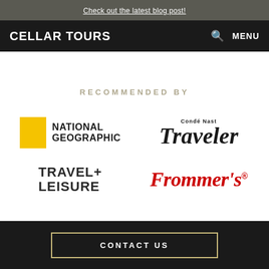Check out the latest blog post!
CELLAR TOURS   MENU
RECOMMENDED BY
[Figure (logo): National Geographic logo: yellow square beside bold text NATIONAL GEOGRAPHIC]
[Figure (logo): Condé Nast Traveler logo in serif italic font]
[Figure (logo): TRAVEL+LEISURE logo in bold black uppercase]
[Figure (logo): Frommer's logo in red italic serif font with registered trademark]
CONTACT US